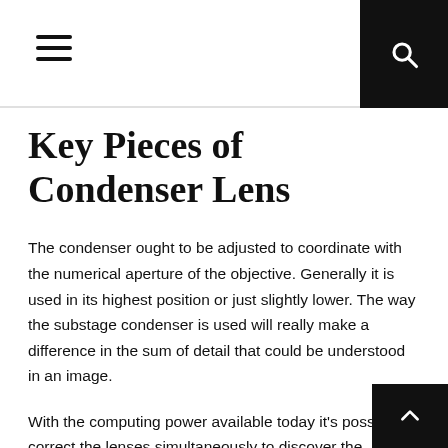Key Pieces of Condenser Lens
The condenser ought to be adjusted to coordinate with the numerical aperture of the objective. Generally it is used in its highest position or just slightly lower. The way the substage condenser is used will really make a difference in the sum of detail that could be understood in an image.
With the computing power available today it’s possible to correct the lenses simultaneously to discover the optimum blend of strengths. The condenser lenses have to be configured properly to